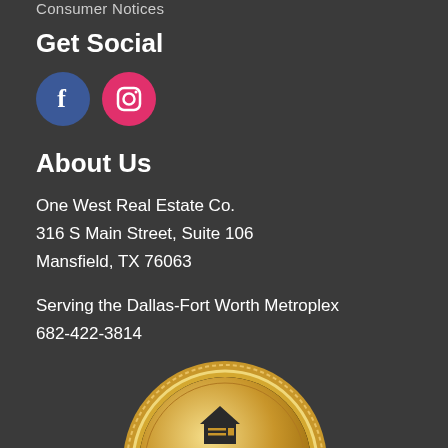Consumer Notices
Get Social
[Figure (illustration): Social media icons: Facebook (blue circle with f) and Instagram (pink circle with camera icon)]
About Us
One West Real Estate Co.
316 S Main Street, Suite 106
Mansfield, TX 76063
Serving the Dallas-Fort Worth Metroplex
682-422-3814
[Figure (logo): America's Best 2020 award badge — gold circular medallion with house icon and text AMERICA'S BEST]